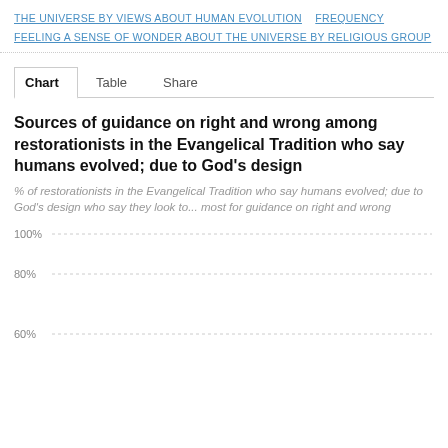THE UNIVERSE BY VIEWS ABOUT HUMAN EVOLUTION  FREQUENCY FEELING A SENSE OF WONDER ABOUT THE UNIVERSE BY RELIGIOUS GROUP
Chart  Table  Share
Sources of guidance on right and wrong among restorationists in the Evangelical Tradition who say humans evolved; due to God's design
% of restorationists in the Evangelical Tradition who say humans evolved; due to God's design who say they look to... most for guidance on right and wrong
[Figure (bar-chart): Bar chart partially visible showing y-axis gridlines at 100%, 80%, 60%]